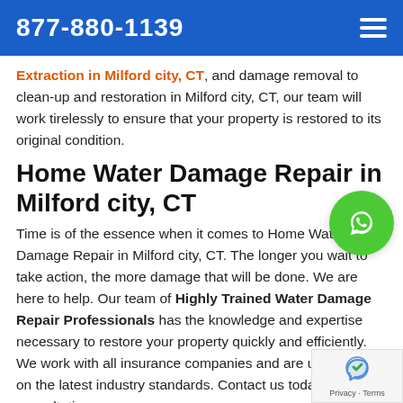877-880-1139
Extraction in Milford city, CT, and damage removal to clean-up and restoration in Milford city, CT, our team will work tirelessly to ensure that your property is restored to its original condition.
Home Water Damage Repair in Milford city, CT
Time is of the essence when it comes to Home Water Damage Repair in Milford city, CT. The longer you wait to take action, the more damage that will be done. We are here to help. Our team of Highly Trained Water Damage Repair Professionals has the knowledge and expertise necessary to restore your property quickly and efficiently. We work with all insurance companies and are up to date on the latest industry standards. Contact us today for a consultation.
[Figure (other): WhatsApp phone icon button, green circle with white phone handset icon]
[Figure (other): Privacy & Terms reCAPTCHA badge, bottom right corner]